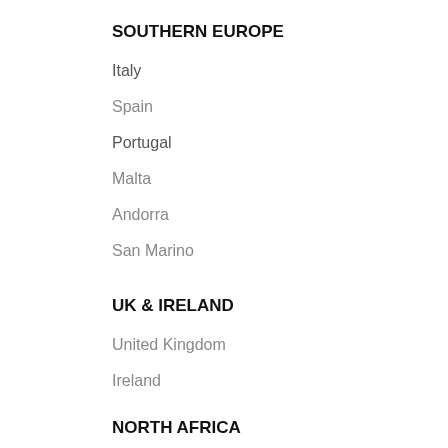SOUTHERN EUROPE
Italy
Spain
Portugal
Malta
Andorra
San Marino
UK & IRELAND
United Kingdom
Ireland
NORTH AFRICA
Egypt
Algeria
Morocco
Sudan